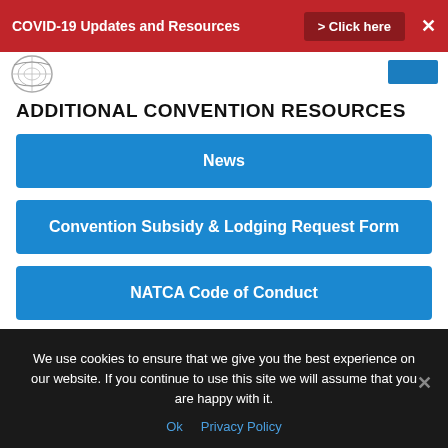COVID-19 Updates and Resources  > Click here  ✕
[Figure (logo): NATCA logo circular emblem, partially visible]
ADDITIONAL CONVENTION RESOURCES
News
Convention Subsidy & Lodging Request Form
NATCA Code of Conduct
Need More Information?
We use cookies to ensure that we give you the best experience on our website. If you continue to use this site we will assume that you are happy with it.
Ok  Privacy Policy